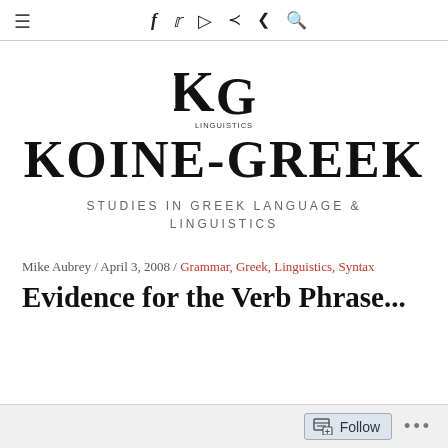≡  f  🐦  ⊕  ≪  ≺  🔍
[Figure (logo): KG Linguistics logo — stylized interlocking K and G letters above the word LINGUISTICS in small caps]
KOINE-GREEK
STUDIES IN GREEK LANGUAGE & LINGUISTICS
Mike Aubrey / April 3, 2008 / Grammar, Greek, Linguistics, Syntax
Evidence for the Verb Phrase...
Follow  ...